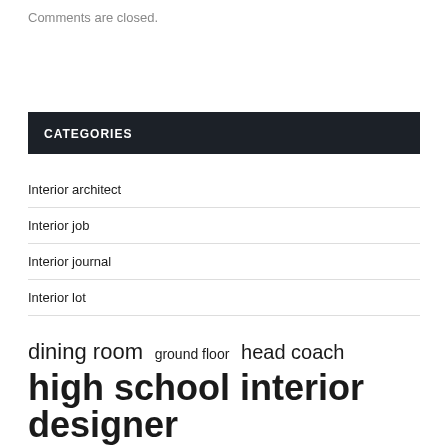Comments are closed.
CATEGORIES
Interior architect
Interior job
Interior journal
Interior lot
dining room   ground floor   head coach   high school interior designer   lincoln county   living room   long time